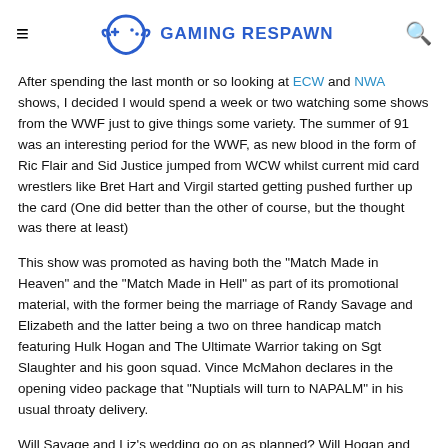≡  GAMING RESPAWN  🔍
After spending the last month or so looking at ECW and NWA shows, I decided I would spend a week or two watching some shows from the WWF just to give things some variety. The summer of 91 was an interesting period for the WWF, as new blood in the form of Ric Flair and Sid Justice jumped from WCW whilst current mid card wrestlers like Bret Hart and Virgil started getting pushed further up the card (One did better than the other of course, but the thought was there at least)
This show was promoted as having both the "Match Made in Heaven" and the "Match Made in Hell" as part of its promotional material, with the former being the marriage of Randy Savage and Elizabeth and the latter being a two on three handicap match featuring Hulk Hogan and The Ultimate Warrior taking on Sgt Slaughter and his goon squad. Vince McMahon declares in the opening video package that "Nuptials will turn to NAPALM" in his usual throaty delivery.
Will Savage and Liz's wedding go on as planned? Will Hogan and